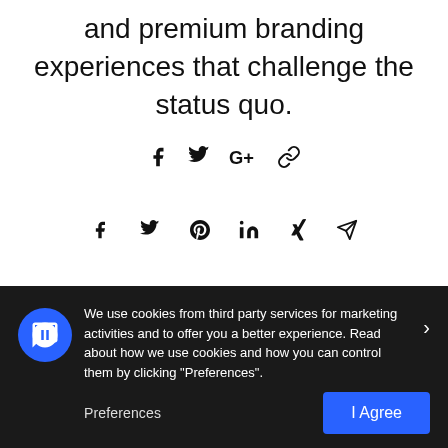and premium branding experiences that challenge the status quo.
[Figure (other): Social share icons row 1: Facebook, Twitter, Google+, Link]
[Figure (other): Social share icons row 2: Facebook, Twitter, Pinterest, LinkedIn, Xing, Send/email]
We use cookies from third party services for marketing activities and to offer you a better experience. Read about how we use cookies and how you can control them by clicking "Preferences".
Preferences
I Agree